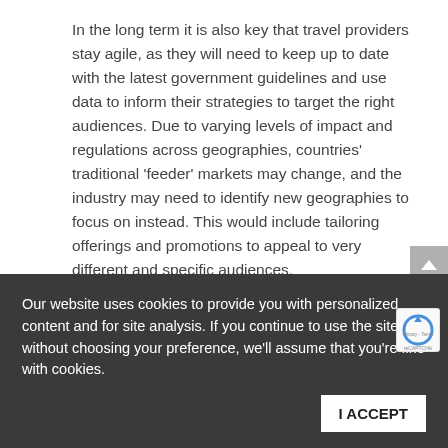In the long term it is also key that travel providers stay agile, as they will need to keep up to date with the latest government guidelines and use data to inform their strategies to target the right audiences. Due to varying levels of impact and regulations across geographies, countries' traditional 'feeder' markets may change, and the industry may need to identify new geographies to focus on instead. This would include tailoring offerings and promotions to appeal to very different and specific audiences.
For example, while New Zealand has traditionally not been a key target market for hoteliers in Australia, it is now one of the first geographies they are focusing on.
2. Growth in small group travel… at a premium price
Our website uses cookies to provide you with personalized content and for site analysis. If you continue to use the site without choosing your preference, we'll assume that you're fine with cookies.